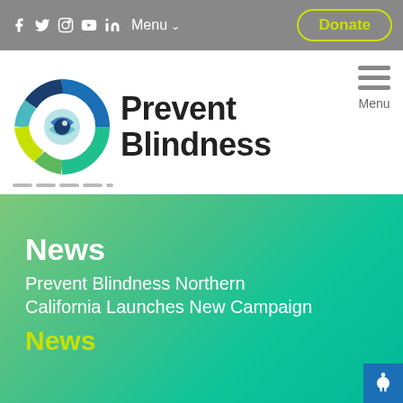f  Twitter  Instagram  YouTube  LinkedIn  Menu  Donate
[Figure (logo): Prevent Blindness logo — circular eye graphic with blue, teal, green, and yellow segments, next to bold text 'Prevent Blindness']
News
Prevent Blindness Northern California Launches New Campaign
News